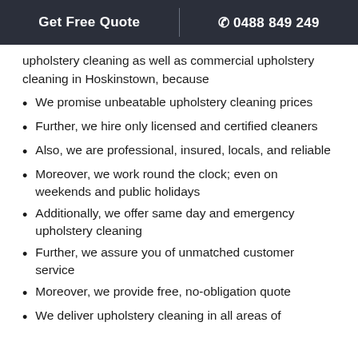Get Free Quote | ☎ 0488 849 249
upholstery cleaning as well as commercial upholstery cleaning in Hoskinstown, because
We promise unbeatable upholstery cleaning prices
Further, we hire only licensed and certified cleaners
Also, we are professional, insured, locals, and reliable
Moreover, we work round the clock; even on weekends and public holidays
Additionally, we offer same day and emergency upholstery cleaning
Further, we assure you of unmatched customer service
Moreover, we provide free, no-obligation quote
We deliver upholstery cleaning in all areas of